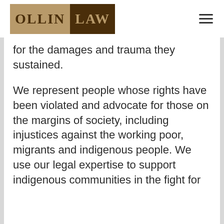[Figure (logo): Ollin Law logo — 'OLLIN' in dark brown text on tan/gold background, 'LAW' in gold text on dark brown background]
for the damages and trauma they sustained.
We represent people whose rights have been violated and advocate for those on the margins of society, including injustices against the working poor, migrants and indigenous people. We use our legal expertise to support indigenous communities in the fight for